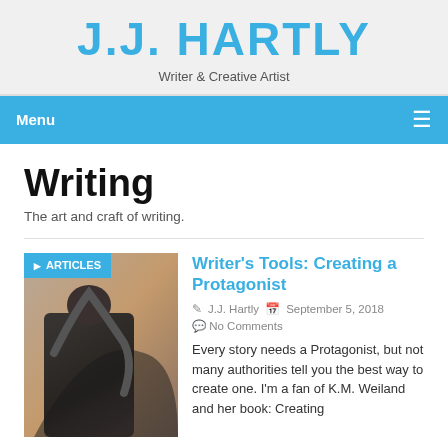J.J. HARTLY
Writer & Creative Artist
Menu
Writing
The art and craft of writing.
[Figure (photo): Person in dark hooded cloak viewed from behind, urban background, with ARTICLES badge overlay]
Writer's Tools: Creating a Protagonist
J.J. Hartly   September 5, 2018
No Comments
Every story needs a Protagonist, but not many authorities tell you the best way to create one. I'm a fan of K.M. Weiland and her book: Creating